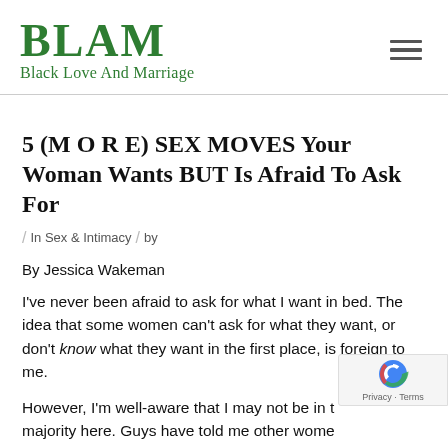BLAM Black Love And Marriage
5 (M O R E) SEX MOVES Your Woman Wants BUT Is Afraid To Ask For
/ In Sex & Intimacy / by
By Jessica Wakeman
I've never been afraid to ask for what I want in bed. The idea that some women can't ask for what they want, or don't know what they want in the first place, is foreign to me.
However, I'm well-aware that I may not be in the majority here. Guys have told me other women become self-conscious when asking for